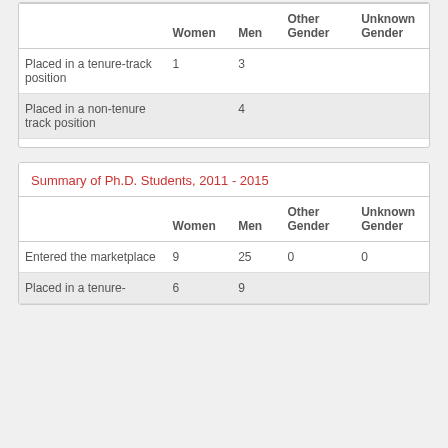|  | Women | Men | Other Gender | Unknown Gender |
| --- | --- | --- | --- | --- |
| Placed in a tenure-track position | 1 | 3 |  |  |
| Placed in a non-tenure track position |  | 4 |  |  |
Summary of Ph.D. Students, 2011 - 2015
|  | Women | Men | Other Gender | Unknown Gender |
| --- | --- | --- | --- | --- |
| Entered the marketplace | 9 | 25 | 0 | 0 |
| Placed in a tenure- | 6 | 9 |  |  |